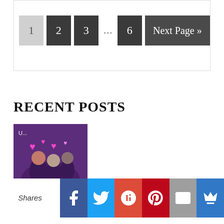[Figure (other): Pagination navigation with buttons: 1 (current, grey), 2 (dark), 3 (dark), ... (ellipsis), 6 (dark), Next Page » (dark wide button)]
RECENT POSTS
[Figure (photo): Photo of group of teens with neon heart decorations on a purple/dark background]
Sizzling hot summer slasher series
[Figure (other): Social share bar with: Shares label, Facebook, Twitter, Google+, Pinterest, Email, crown/extra icon buttons]